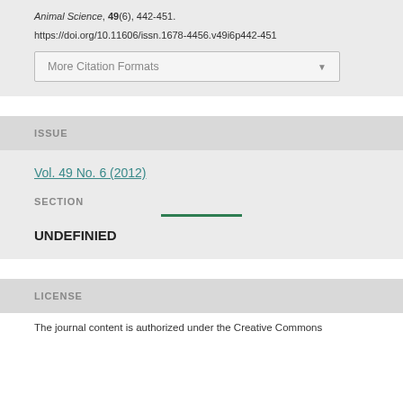Animal Science, 49(6), 442-451.
https://doi.org/10.11606/issn.1678-4456.v49i6p442-451
More Citation Formats
ISSUE
Vol. 49 No. 6 (2012)
SECTION
UNDEFINIED
LICENSE
The journal content is authorized under the Creative Commons